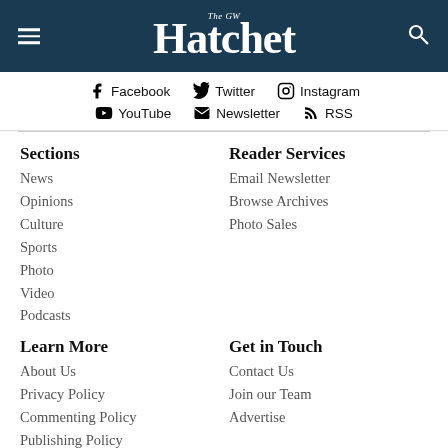The GW Hatchet
Facebook  Twitter  Instagram  YouTube  Newsletter  RSS
Sections
News
Opinions
Culture
Sports
Photo
Video
Podcasts
Reader Services
Email Newsletter
Browse Archives
Photo Sales
Learn More
About Us
Privacy Policy
Commenting Policy
Publishing Policy
Get in Touch
Contact Us
Join our Team
Advertise
Copyright © 2022 Hatchet Publications, Inc. • Proudly